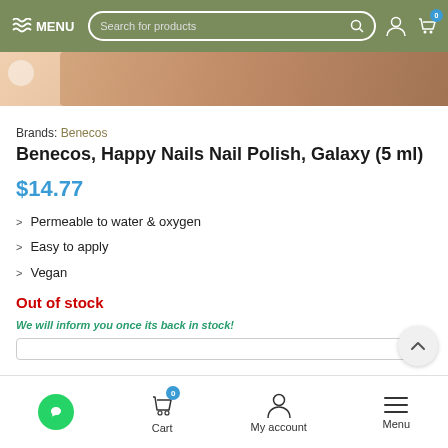MENU | Search for products
[Figure (photo): Partial product photo showing nail polish being applied to a finger, cropped at top]
Brands: Benecos
Benecos, Happy Nails Nail Polish, Galaxy (5 ml)
$14.77
Permeable to water & oxygen
Easy to apply
Vegan
Out of stock
We will inform you once its back in stock!
Cart | My account | Menu